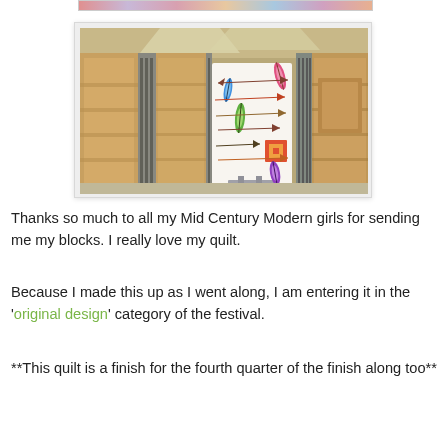[Figure (photo): A colorful quilt with arrow and feather designs displayed on a stand inside a horse stable with wooden stalls and metal grating.]
Thanks so much to all my Mid Century Modern girls for sending me my blocks. I really love my quilt.
Because I made this up as I went along, I am entering it in the 'original design' category of the festival.
**This quilt is a finish for the fourth quarter of the finish along too**